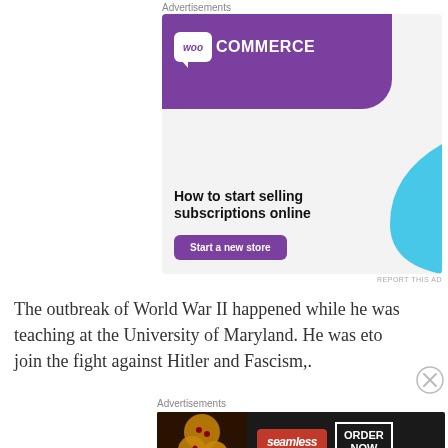Advertisements
[Figure (screenshot): WooCommerce advertisement banner with purple header, WooCommerce logo, green triangle accent, blue curved shape, headline 'How to start selling subscriptions online', and purple 'Start a new store' button]
REPORT THIS AD
The outbreak of World War II happened while he was teaching at the University of Maryland. He was eto join the fight against Hitler and Fascism,.
Advertisements
[Figure (screenshot): Seamless food delivery advertisement showing pizza image, Seamless red logo badge, and ORDER NOW button]